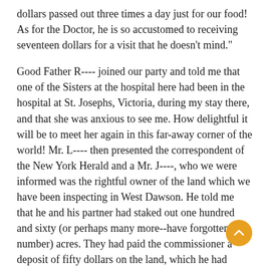dollars passed out three times a day just for our food! As for the Doctor, he is so accustomed to receiving seventeen dollars for a visit that he doesn't mind."
Good Father R---- joined our party and told me that one of the Sisters at the hospital here had been in the hospital at St. Josephs, Victoria, during my stay there, and that she was anxious to see me. How delightful it will be to meet her again in this far-away corner of the world! Mr. L---- then presented the correspondent of the New York Herald and a Mr. J----, who we were informed was the rightful owner of the land which we have been inspecting in West Dawson. He told me that he and his partner had staked out one hundred and sixty (or perhaps many more--have forgotten the number) acres. They had paid the commissioner a deposit of fifty dollars on the land, which he had accepted. They had spent many thousands in clearing it and in starting a garden. Just as radishes, and many other